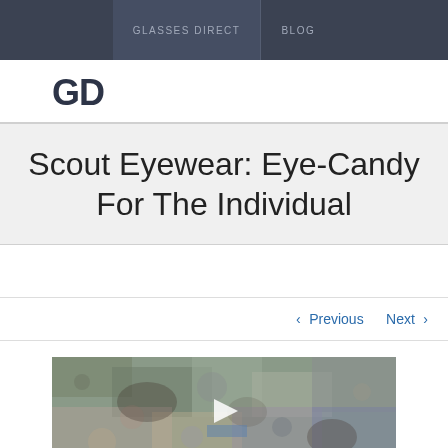GLASSES DIRECT  BLOG
GD
Scout Eyewear: Eye-Candy For The Individual
‹ Previous   Next ›
[Figure (photo): A textured outdoor/nature photograph, partially visible, showing rocky or stone-like terrain with muted colors of grey, brown, and blue, with a small white triangular shape (possibly a play button icon) visible in the center.]